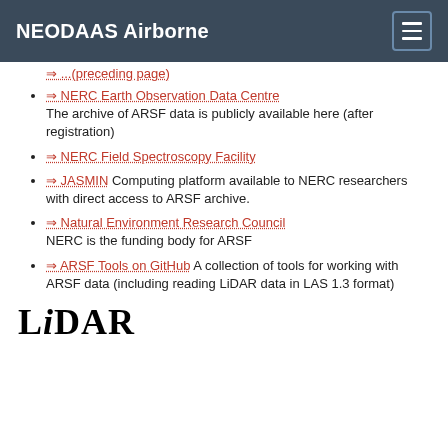NEODAAS Airborne
NERC Earth Observation Data Centre — The archive of ARSF data is publicly available here (after registration)
NERC Field Spectroscopy Facility
JASMIN Computing platform available to NERC researchers with direct access to ARSF archive.
Natural Environment Research Council — NERC is the funding body for ARSF
ARSF Tools on GitHub — A collection of tools for working with ARSF data (including reading LiDAR data in LAS 1.3 format)
LiDAR